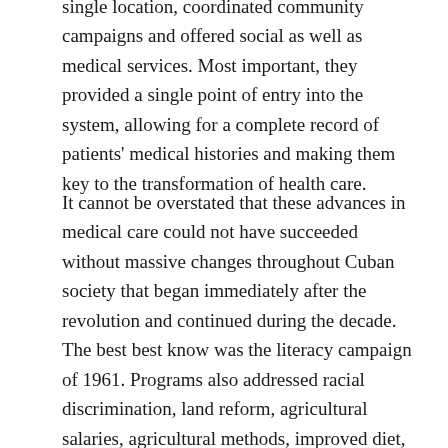single location, coordinated community campaigns and offered social as well as medical services. Most important, they provided a single point of entry into the system, allowing for a complete record of patients' medical histories and making them key to the transformation of health care.
It cannot be overstated that these advances in medical care could not have succeeded without massive changes throughout Cuban society that began immediately after the revolution and continued during the decade. The best best know was the literacy campaign of 1961. Programs also addressed racial discrimination, land reform, agricultural salaries, agricultural methods, improved diet, pensions, new roads, new classrooms, new homes, piped water, and urban/rural differences. The redesign of medical services was hardly a “stand alone” process – it was an essential component of remaking Cuba.